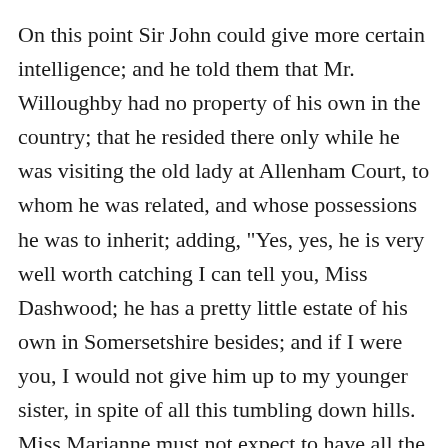On this point Sir John could give more certain intelligence; and he told them that Mr. Willoughby had no property of his own in the country; that he resided there only while he was visiting the old lady at Allenham Court, to whom he was related, and whose possessions he was to inherit; adding, "Yes, yes, he is very well worth catching I can tell you, Miss Dashwood; he has a pretty little estate of his own in Somersetshire besides; and if I were you, I would not give him up to my younger sister, in spite of all this tumbling down hills. Miss Marianne must not expect to have all the men to herself. Brandon will be jealous, if she does not take care."